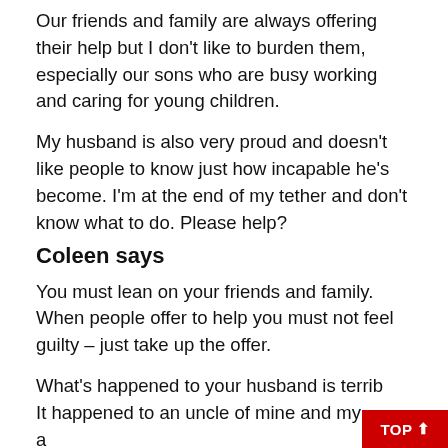Our friends and family are always offering their help but I don't like to burden them, especially our sons who are busy working and caring for young children.
My husband is also very proud and doesn't like people to know just how incapable he's become. I'm at the end of my tether and don't know what to do. Please help?
Coleen says
You must lean on your friends and family. When people offer to help you must not feel guilty – just take up the offer.
What's happened to your husband is terrib… It happened to an uncle of mine and my auntie was…